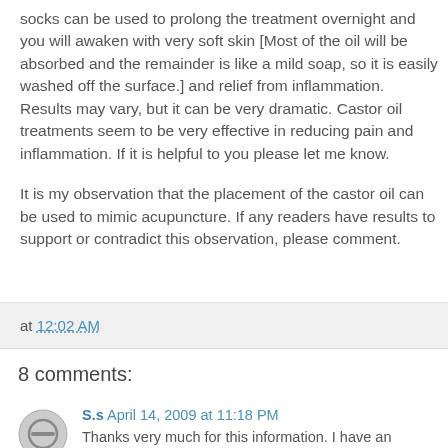socks can be used to prolong the treatment overnight and you will awaken with very soft skin [Most of the oil will be absorbed and the remainder is like a mild soap, so it is easily washed off the surface.] and relief from inflammation. Results may vary, but it can be very dramatic. Castor oil treatments seem to be very effective in reducing pain and inflammation. If it is helpful to you please let me know.

It is my observation that the placement of the castor oil can be used to mimic acupuncture. If any readers have results to support or contradict this observation, please comment.
at 12:02 AM
8 comments:
S.s April 14, 2009 at 11:18 PM
Thanks very much for this information. I have an inflamed SI joint, and was never certain whether to be applying heat or ice. How helpful!